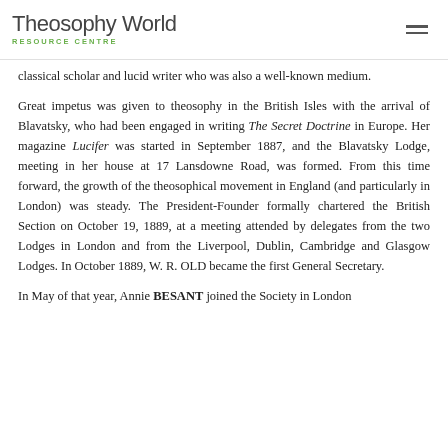Theosophy World RESOURCE CENTRE
classical scholar and lucid writer who was also a well-known medium.
Great impetus was given to theosophy in the British Isles with the arrival of Blavatsky, who had been engaged in writing The Secret Doctrine in Europe. Her magazine Lucifer was started in September 1887, and the Blavatsky Lodge, meeting in her house at 17 Lansdowne Road, was formed. From this time forward, the growth of the theosophical movement in England (and particularly in London) was steady. The President-Founder formally chartered the British Section on October 19, 1889, at a meeting attended by delegates from the two Lodges in London and from the Liverpool, Dublin, Cambridge and Glasgow Lodges. In October 1889, W. R. OLD became the first General Secretary.
In May of that year, Annie BESANT joined the Society in London